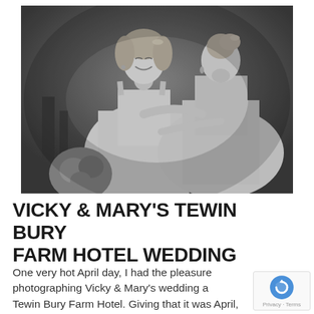[Figure (photo): Black and white wedding photograph of two brides in white dresses embracing outdoors. One bride faces the camera smiling, the other has her back to camera with head leaning toward the other. Bokeh background of trees.]
VICKY & MARY'S TEWIN BURY FARM HOTEL WEDDING
One very hot April day, I had the pleasure photographing Vicky & Mary's wedding at Tewin Bury Farm Hotel. Giving that it was April,